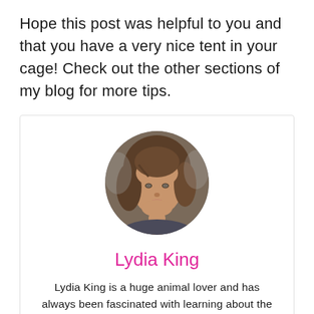Hope this post was helpful to you and that you have a very nice tent in your cage! Check out the other sections of my blog for more tips.
[Figure (photo): Circular portrait photo of Lydia King, a woman with medium-length brown hair, smiling.]
Lydia King
Lydia King is a huge animal lover and has always been fascinated with learning about the animal kingdom. She enjoys writing about anything animal related from scientific information about rare species to animal references in pop culture.